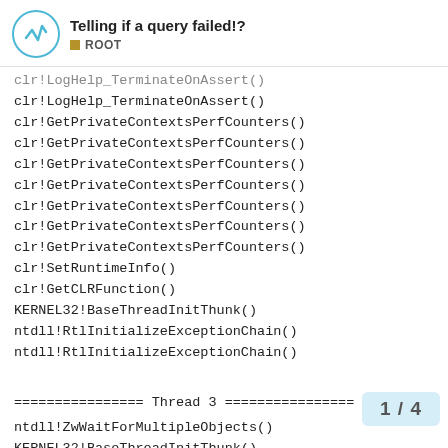Telling if a query failed!? ROOT
clr!LogHelp_TerminateOnAssert()
clr!LogHelp_TerminateOnAssert()
clr!GetPrivateContextsPerfCounters()
clr!GetPrivateContextsPerfCounters()
clr!GetPrivateContextsPerfCounters()
clr!GetPrivateContextsPerfCounters()
clr!GetPrivateContextsPerfCounters()
clr!GetPrivateContextsPerfCounters()
clr!GetPrivateContextsPerfCounters()
clr!SetRuntimeInfo()
clr!GetCLRFunction()
KERNEL32!BaseThreadInitThunk()
ntdll!RtlInitializeExceptionChain()
ntdll!RtlInitializeExceptionChain()

================ Thread 3 ================
ntdll!ZwWaitForMultipleObjects()
KERNEL32!BaseThreadInitThunk()
ntdll!RtlInitializeExceptionChain()
1 / 4